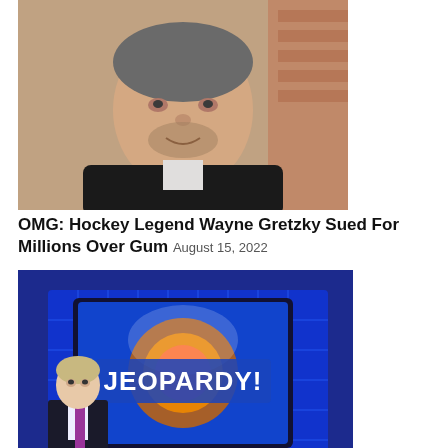[Figure (photo): Close-up photo of a middle-aged man with grey stubble and dark jacket, smiling slightly, with brick wall background]
OMG: Hockey Legend Wayne Gretzky Sued For Millions Over Gum August 15, 2022
[Figure (photo): Photo of Jeopardy! game show set with a man in suit and tie standing in front of the Jeopardy! logo screen]
'Jeopardy!' In Review: March 21 – March 25, Everything You Missed! March 26, 2022